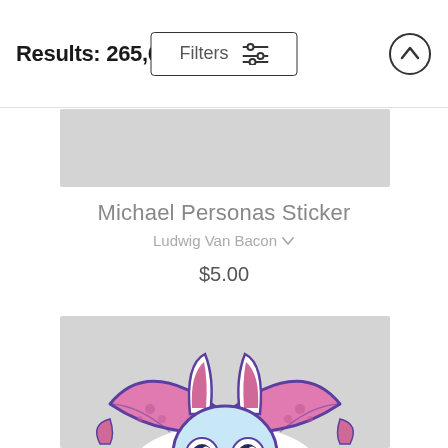Results: 265,612
Filters
Michael Personas Sticker
Ludwig Van Bacon
$5.00
[Figure (photo): Partial gray product image placeholder at top]
[Figure (illustration): Cartoon bat sticker with purple outline, pink ears and wings, light blue face with large round eyes, partially cropped]